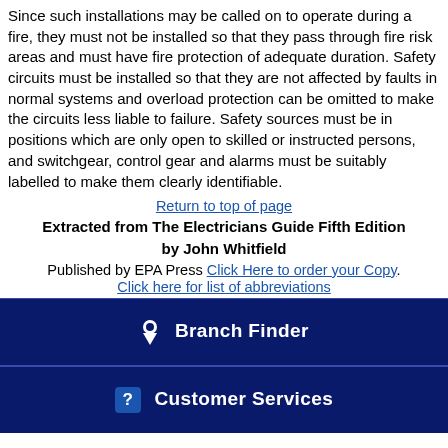Since such installations may be called on to operate during a fire, they must not be installed so that they pass through fire risk areas and must have fire protection of adequate duration. Safety circuits must be installed so that they are not affected by faults in normal systems and overload protection can be omitted to make the circuits less liable to failure. Safety sources must be in positions which are only open to skilled or instructed persons, and switchgear, control gear and alarms must be suitably labelled to make them clearly identifiable.
Return to top of page
Extracted from The Electricians Guide Fifth Edition by John Whitfield
Published by EPA Press Click Here to order your Copy. Click here for list of abbreviations
Branch Finder
Customer Services